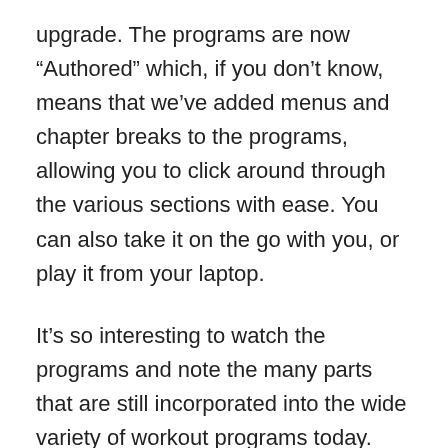upgrade. The programs are now “Authored” which, if you don’t know, means that we’ve added menus and chapter breaks to the programs, allowing you to click around through the various sections with ease. You can also take it on the go with you, or play it from your laptop.
It’s so interesting to watch the programs and note the many parts that are still incorporated into the wide variety of workout programs today. Part of what we’ve learned over the years is that fitness varies for each individual. One of the great benefits we get from programs on DVD is the ability to easily isolate and focus on parts of a program that work for us.
Over the years I have heard from so many of you